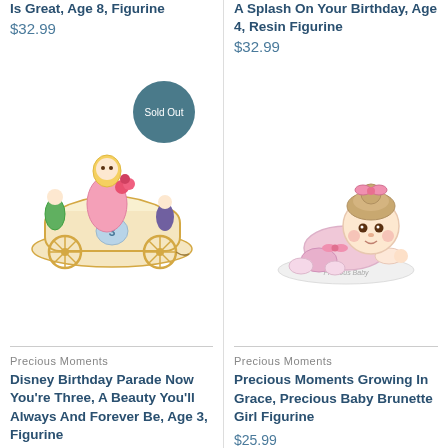Is Great, Age 8, Figurine
$32.99
A Splash On Your Birthday, Age 4, Resin Figurine
$32.99
[Figure (photo): Disney Birthday Parade figurine with Sleeping Beauty Aurora in pink dress on carriage number 3, with fairy godmothers. Sold Out badge overlay.]
[Figure (photo): Precious Moments Growing In Grace baby girl brunette figurine crawling in pink outfit on white base labeled Precious Baby.]
Precious Moments
Disney Birthday Parade Now You're Three, A Beauty You'll Always And Forever Be, Age 3, Figurine
Precious Moments
Precious Moments Growing In Grace, Precious Baby Brunette Girl Figurine
$25.99